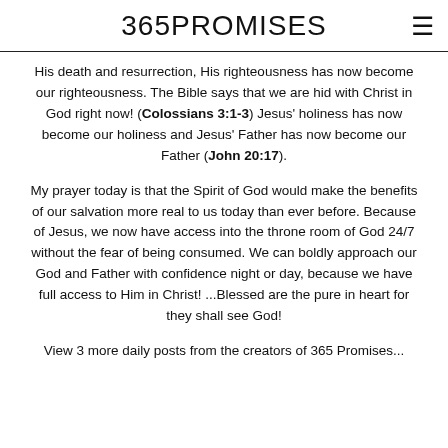365PROMISES
His death and resurrection, His righteousness has now become our righteousness. The Bible says that we are hid with Christ in God right now! (Colossians 3:1-3) Jesus' holiness has now become our holiness and Jesus' Father has now become our Father (John 20:17).
My prayer today is that the Spirit of God would make the benefits of our salvation more real to us today than ever before. Because of Jesus, we now have access into the throne room of God 24/7 without the fear of being consumed. We can boldly approach our God and Father with confidence night or day, because we have full access to Him in Christ! ...Blessed are the pure in heart for they shall see God!
View 3 more daily posts from the creators of 365 Promises...